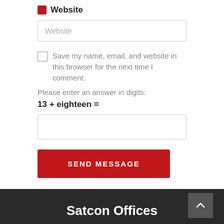Website
Website (input field placeholder)
Save my name, email, and website in this browser for the next time I comment.
Please enter an answer in digits:
(answer input field)
SEND MESSAGE
Satcon Offices
USA: 17440 N Dallas Pkwy, Ste 108